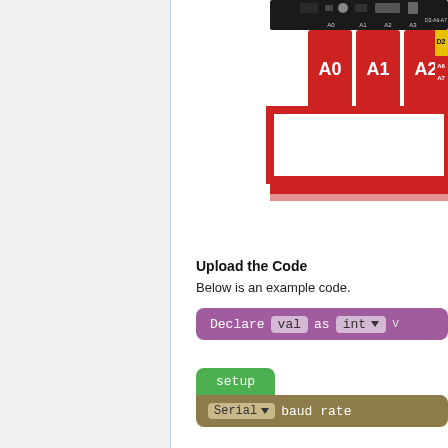[Figure (photo): Close-up photo of a microcontroller board (similar to Arduino) with analog input pins labeled A0, A1, A2, A3, D2-A6-A7 highlighted in red, partially cropped at the top of the page. A red border/highlight box is drawn around certain areas of the board.]
Upload the Code
Below is an example code.
[Figure (screenshot): Block-based code screenshot showing a purple 'Declare val as int' block with dropdown arrow, followed by a green 'setup' block containing a khaki/olive 'Serial baud rate' block.]